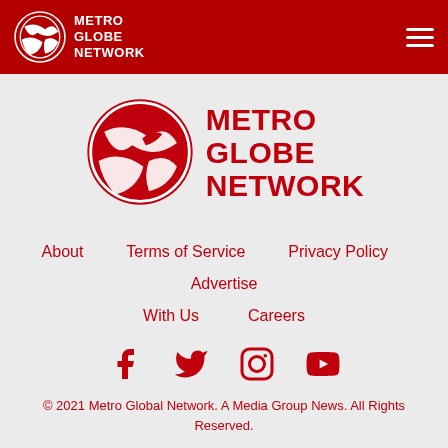METRO GLOBE NETWORK
[Figure (logo): Metro Globe Network large centered logo with eagle/globe mark and red text METRO GLOBE NETWORK]
About
Terms of Service
Privacy Policy
Advertise With Us
Careers
[Figure (illustration): Social media icons: Facebook, Twitter, Instagram, YouTube in red]
© 2021 Metro Global Network. A Media Group News. All Rights Reserved.